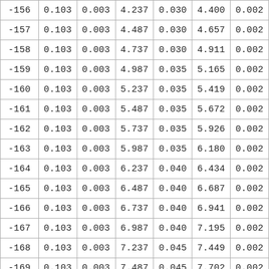| -156 | 0.103 | 0.003 | 4.237 | 0.030 | 4.400 | 0.002 |
| -157 | 0.103 | 0.003 | 4.487 | 0.030 | 4.657 | 0.002 |
| -158 | 0.103 | 0.003 | 4.737 | 0.030 | 4.911 | 0.002 |
| -159 | 0.103 | 0.003 | 4.987 | 0.035 | 5.165 | 0.002 |
| -160 | 0.103 | 0.003 | 5.237 | 0.035 | 5.419 | 0.002 |
| -161 | 0.103 | 0.003 | 5.487 | 0.035 | 5.672 | 0.002 |
| -162 | 0.103 | 0.003 | 5.737 | 0.035 | 5.926 | 0.002 |
| -163 | 0.103 | 0.003 | 5.987 | 0.035 | 6.180 | 0.002 |
| -164 | 0.103 | 0.003 | 6.237 | 0.040 | 6.434 | 0.002 |
| -165 | 0.103 | 0.003 | 6.487 | 0.040 | 6.687 | 0.002 |
| -166 | 0.103 | 0.003 | 6.737 | 0.040 | 6.941 | 0.002 |
| -167 | 0.103 | 0.003 | 6.987 | 0.040 | 7.195 | 0.002 |
| -168 | 0.103 | 0.003 | 7.237 | 0.045 | 7.449 | 0.002 |
| -169 | 0.103 | 0.003 | 7.487 | 0.045 | 7.702 | 0.002 |
| -170 | 0.103 | 0.003 | 7.737 | 0.045 | 7.956 | 0.002 |
| -171 | 0.103 | 0.003 | 7.987 | 0.045 | 8.210 | 0.002 |